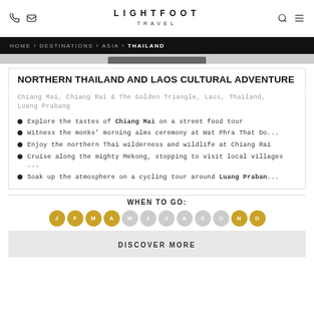LIGHTFOOT TRAVEL
HOME > DESTINATIONS > ASIA > THAILAND
NORTHERN THAILAND AND LAOS CULTURAL ADVENTURE
Chiang Mai, Chiang Rai & The Golden Triangle, Laos, Thailand, Luang Prabang
Explore the tastes of Chiang Mai on a street food tour
Witness the monks' morning alms ceremony at Wat Phra That Do...
Enjoy the northern Thai wilderness and wildlife at Chiang Rai
Cruise along the mighty Mekong, stopping to visit local villages ...
Soak up the atmosphere on a cycling tour around Luang Praban...
WHEN TO GO:
J F M A M J J A S O N D — active months: J, F, M, A, N, D
DISCOVER MORE